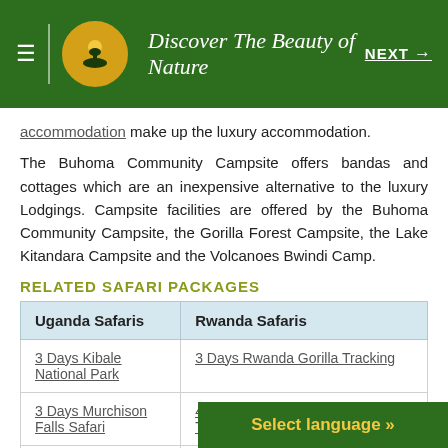Discover The Beauty of Nature  NEXT →
accommodation make up the luxury accommodation.
The Buhoma Community Campsite offers bandas and cottages which are an inexpensive alternative to the luxury Lodgings. Campsite facilities are offered by the Buhoma Community Campsite, the Gorilla Forest Campsite, the Lake Kitandara Campsite and the Volcanoes Bwindi Camp.
RELATED SAFARI PACKAGES
| Uganda Safaris | Rwanda Safaris |
| --- | --- |
| 3 Days Kibale National Park | 3 Days Rwanda Gorilla Tracking |
| 3 Days Murchison Falls Safari | 4 Days Rwanda Chimpanzee Tracking |
| 5 Days Uganda Gorilla Trekking | 5 Days Rwanda Wildlife Safari |